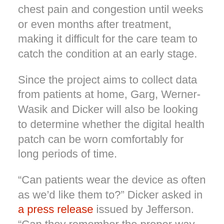chest pain and congestion until weeks or even months after treatment, making it difficult for the care team to catch the condition at an early stage.
Since the project aims to collect data from patients at home, Garg, Werner-Wasik and Dicker will also be looking to determine whether the digital health patch can be worn comfortably for long periods of time.
“Can patients wear the device as often as we’d like them to?” Dicker asked in a press release issued by Jefferson. “Can they remember the proper way to charge the device, apply the device? What do they think of the device and the intervention as a whole? Is it acceptable to them, do they mind it, do they feel comfortable wearing it?”
In a later phase of the project, Dicker and his